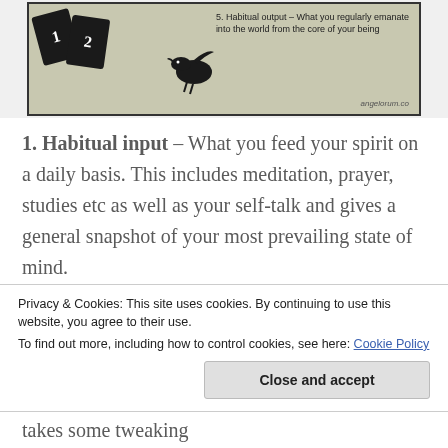[Figure (screenshot): Image showing two black tarot/playing cards numbered 1 and 2 with a black crow/raven bird and text reading '5. Habitual output - What you regularly emanate into the world from the core of your being', with angelorum.co watermark]
1. Habitual input – What you feed your spirit on a daily basis. This includes meditation, prayer, studies etc as well as your self-talk and gives a general snapshot of your most prevailing state of mind. 2. Your foundation – Useful skills and techniques that you have acquired so far
Privacy & Cookies: This site uses cookies. By continuing to use this website, you agree to their use.
To find out more, including how to control cookies, see here: Cookie Policy
Close and accept
takes some tweaking